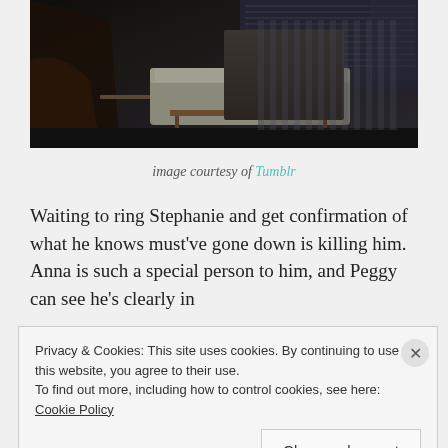[Figure (photo): Dark interior room scene showing a person sitting on a light-colored sofa/couch with a coffee table in front, venetian blinds visible in background, dimly lit atmosphere]
image courtesy of Tumblr
Waiting to ring Stephanie and get confirmation of what he knows must've gone down is killing him. Anna is such a special person to him, and Peggy can see he's clearly in
Privacy & Cookies: This site uses cookies. By continuing to use this website, you agree to their use.
To find out more, including how to control cookies, see here: Cookie Policy
Close and accept